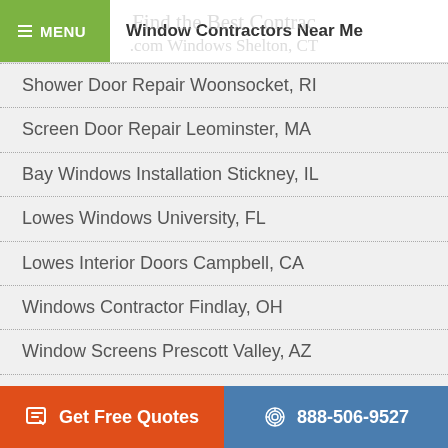Window Contractors Near Me
Shower Door Repair Woonsocket, RI
Screen Door Repair Leominster, MA
Bay Windows Installation Stickney, IL
Lowes Windows University, FL
Lowes Interior Doors Campbell, CA
Windows Contractor Findlay, OH
Window Screens Prescott Valley, AZ
Home Glass Repair Ocoee, FL
Install Bay Windows Marlboro, NJ
House Window Replacement Brentwood, TN
Get Free Quotes | 888-506-9527